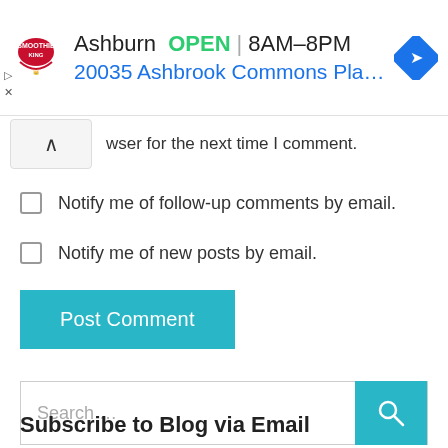[Figure (screenshot): Smoothie King ad banner showing Ashburn location OPEN 8AM-8PM, address 20035 Ashbrook Commons Pla..., with navigation icon]
wser for the next time I comment.
Notify me of follow-up comments by email.
Notify me of new posts by email.
Post Comment
Search ...
Subscribe to Blog via Email